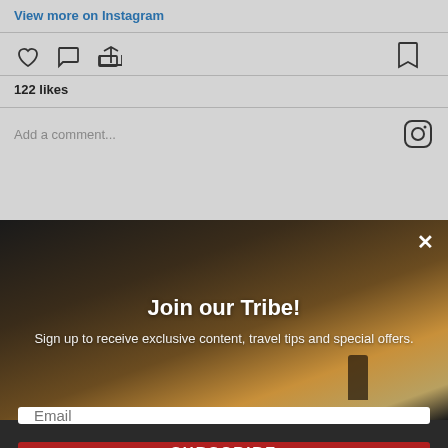View more on Instagram
[Figure (screenshot): Instagram action icons: heart (like), comment bubble, share arrow, and bookmark icon. Shows 122 likes and a comment input field with Instagram logo.]
122 likes
Add a comment...
[Figure (screenshot): Partial banner: READ THIS POST with a travel image thumbnail on the left.]
[Figure (photo): Dark scenic landscape photo with warm golden light on hillside and silhouette of a person.]
Join our Tribe!
Sign up to receive exclusive content, travel tips and special offers.
Email
SUBSCRIBE